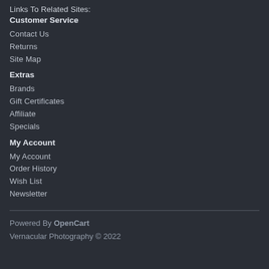Links To Related Sites:
Customer Service
Contact Us
Returns
Site Map
Extras
Brands
Gift Certificates
Affiliate
Specials
My Account
My Account
Order History
Wish List
Newsletter
Powered By OpenCart
Vernacular Photography © 2022